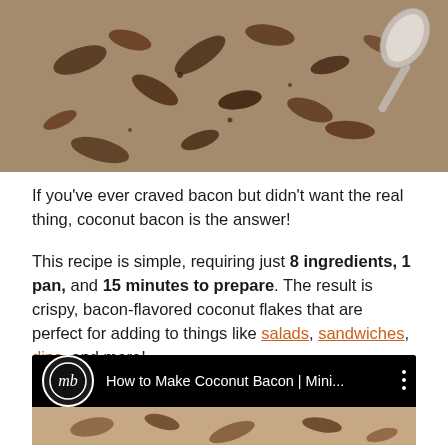[Figure (photo): Top-down photo of coconut bacon flakes on a baking sheet, with a spoon visible, warm brown tones]
If you've ever craved bacon but didn't want the real thing, coconut bacon is the answer!
This recipe is simple, requiring just 8 ingredients, 1 pan, and 15 minutes to prepare. The result is crispy, bacon-flavored coconut flakes that are perfect for adding to things like salads, sandwiches, dips, and more!
[Figure (screenshot): YouTube video thumbnail showing 'How to Make Coconut Bacon | Mini...' with MB logo and three-dot menu icon, with a food photo preview below]